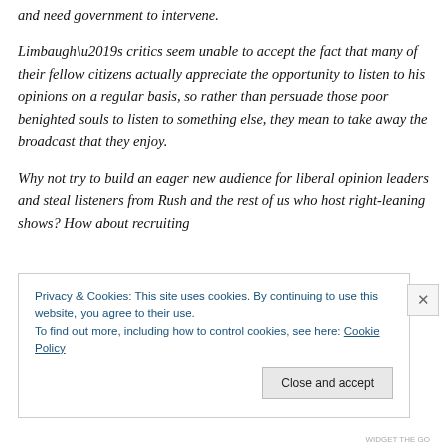and need government to intervene.
Limbaugh’s critics seem unable to accept the fact that many of their fellow citizens actually appreciate the opportunity to listen to his opinions on a regular basis, so rather than persuade those poor benighted souls to listen to something else, they mean to take away the broadcast that they enjoy.
Why not try to build an eager new audience for liberal opinion leaders and steal listeners from Rush and the rest of us who host right-leaning shows? How about recruiting
Privacy & Cookies: This site uses cookies. By continuing to use this website, you agree to their use.
To find out more, including how to control cookies, see here: Cookie Policy
Close and accept